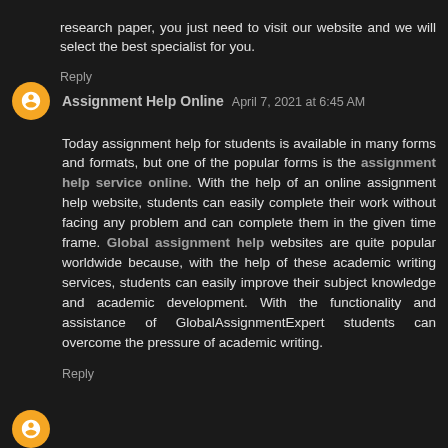research paper, you just need to visit our website and we will select the best specialist for you.
Reply
Assignment Help Online  April 7, 2021 at 6:45 AM
Today assignment help for students is available in many forms and formats, but one of the popular forms is the assignment help service online. With the help of an online assignment help website, students can easily complete their work without facing any problem and can complete them in the given time frame. Global assignment help websites are quite popular worldwide because, with the help of these academic writing services, students can easily improve their subject knowledge and academic development. With the functionality and assistance of GlobalAssignmentExpert students can overcome the pressure of academic writing.
Reply